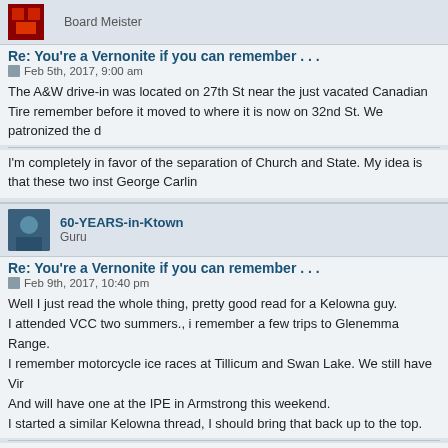Board Meister
Re: You're a Vernonite if you can remember . . .
Feb 5th, 2017, 9:00 am
The A&W drive-in was located on 27th St near the just vacated Canadian Tire remember before it moved to where it is now on 32nd St. We patronized the d
I'm completely in favor of the separation of Church and State. My idea is that these two inst George Carlin
60-YEARS-in-Ktown
Guru
Re: You're a Vernonite if you can remember . . .
Feb 9th, 2017, 10:40 pm
Well I just read the whole thing, pretty good read for a Kelowna guy.
I attended VCC two summers., i remember a few trips to Glenemma Range.
I remember motorcycle ice races at Tillicum and Swan Lake. We still have Vir
And will have one at the IPE in Armstrong this weekend.
I started a similar Kelowna thread, I should bring that back up to the top.
I'd like to help You OUT,
Which way did You come in??